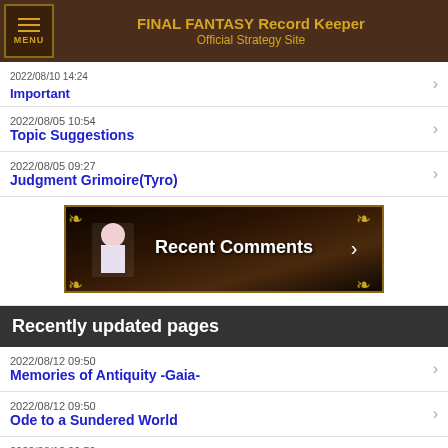FINAL FANTASY Record Keeper Official Strategy Site
Forums
2022/08/10 14:24
Important
2022/08/05 10:54
Topic Suggestions
2022/08/05 09:27
Judgment Grimoire(Tyro)
[Figure (screenshot): Recent Comments banner with decorative library bookshelf background and pixel-art character]
Recently updated pages
2022/08/12 09:50
Memories of Antiquity -Gaia-
2022/08/12 09:50
Ode to a Sundered World
2022/08/12 09:50
Ode to a Sundered World
2022/08/12 09:50